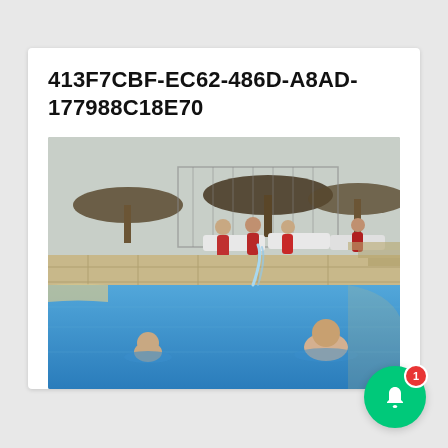413F7CBF-EC62-486D-A8AD-177988C18E70
[Figure (photo): Outdoor swimming pool with two people in the water, white lounge chairs, thatched umbrellas, and a water jet feature. People in red are visible in the background area near a pergola and stairs.]